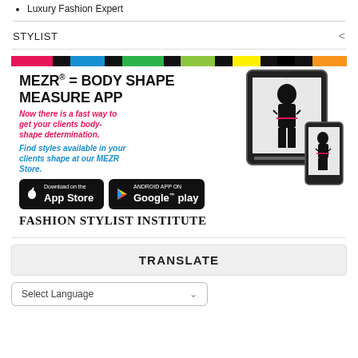Luxury Fashion Expert
STYLIST
[Figure (infographic): MEZR app advertisement: colorful stripe bar at top, title 'MEZR® = BODY SHAPE MEASURE APP', pink italic text 'Now there is a fast way to get your clients body-shape determination.', blue italic text 'Find styles available in your clients shape at our MEZR Store.', App Store and Google Play download buttons, tablet/phone mockup on right side, 'FASHION STYLIST INSTITUTE' label at bottom.]
TRANSLATE
Select Language